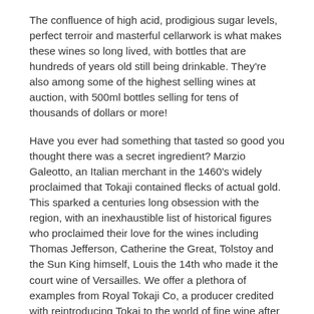The confluence of high acid, prodigious sugar levels, perfect terroir and masterful cellarwork is what makes these wines so long lived, with bottles that are hundreds of years old still being drinkable. They're also among some of the highest selling wines at auction, with 500ml bottles selling for tens of thousands of dollars or more!
Have you ever had something that tasted so good you thought there was a secret ingredient? Marzio Galeotto, an Italian merchant in the 1460's widely proclaimed that Tokaji contained flecks of actual gold. This sparked a centuries long obsession with the region, with an inexhaustible list of historical figures who proclaimed their love for the wines including Thomas Jefferson, Catherine the Great, Tolstoy and the Sun King himself, Louis the 14th who made it the court wine of Versailles. We offer a plethora of examples from Royal Tokaji Co, a producer credited with reintroducing Tokai to the world of fine wine after the elimination of the Iron Curtain.